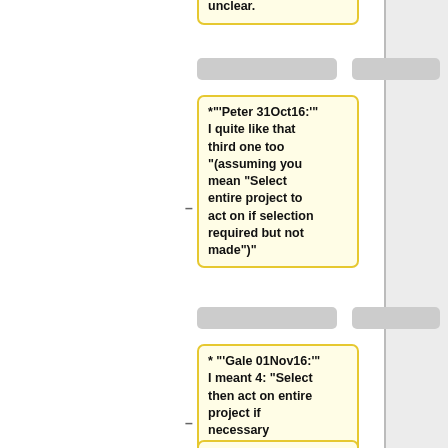idea is not I think unclear.
*"'Peter 31Oct16:'" I quite like that third one too "(assuming you mean "Select entire project to act on if selection required but not made")"
* "'Gale 01Nov16:'" I meant 4: "Select then act on entire project if necessary selection not made".
: Or another